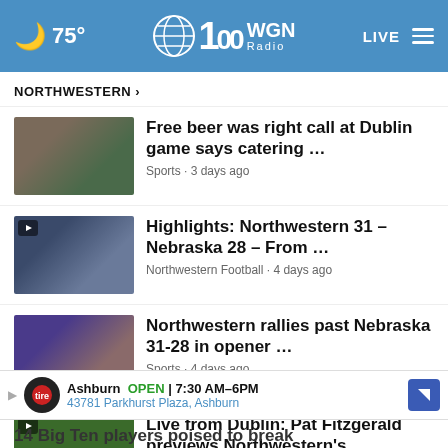🌙 75° WGN Radio LIVE
NORTHWESTERN ›
Free beer was right call at Dublin game says catering ... Sports • 3 days ago
Highlights: Northwestern 31 – Nebraska 28 – From ... Northwestern Football • 4 days ago
Northwestern rallies past Nebraska 31-28 in opener ... Sports • 4 days ago
Live from Dublin: Pat Fitzgerald previews Northwestern's ... Bob Sirott • 5 days ago
Northwestern's Pete Nance
14 Big Ten players poised to break
Ashburn OPEN | 7:30 AM–6PM 43781 Parkhurst Plaza, Ashburn